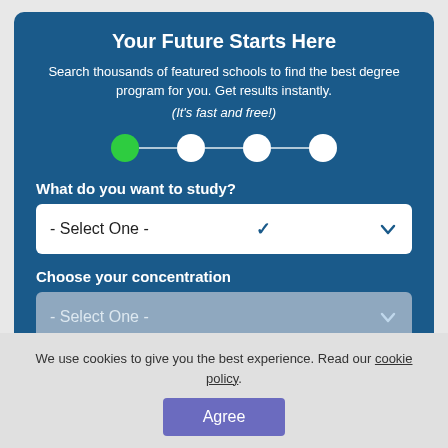Your Future Starts Here
Search thousands of featured schools to find the best degree program for you. Get results instantly.
(It's fast and free!)
[Figure (infographic): Step progress indicator with 4 circles connected by lines. First circle is green (active), remaining three are white.]
What do you want to study?
- Select One -
Choose your concentration
- Select One -
We use cookies to give you the best experience. Read our cookie policy.
Agree